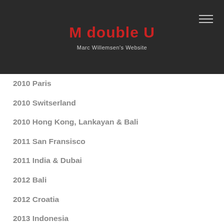M double U — Marc Willemsen's Website
2010 Paris
2010 Switserland
2010 Hong Kong, Lankayan & Bali
2011 San Fransisco
2011 India & Dubai
2012 Bali
2012 Croatia
2013 Indonesia
2014 Cruise To The Edge
2014 London
2014 Maldives & Dubai